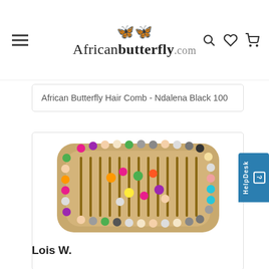Africanbutterfly.com
African Butterfly Hair Comb - Ndalena Black 100
[Figure (photo): African Butterfly hair comb with colorful beads arranged around the edges of a tan/beige comb with vertical tines]
Lois W.
(Bethlehem, PA, US)
Verified
07/22/2021
★★★★★